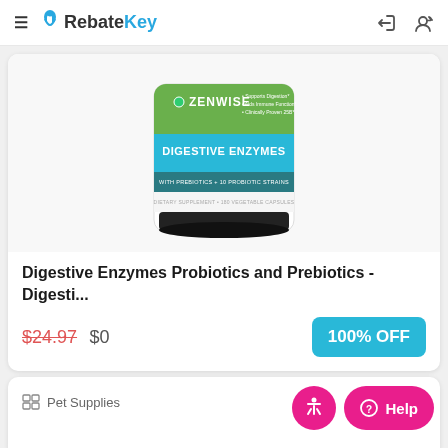RebateKey
[Figure (photo): Zenwise Digestive Enzymes supplement bottle with green and teal label showing 'DIGESTIVE ENZYMES with Prebiotics + 10 Probiotic Strains, Dietary Supplement 180 Vegetable Capsules']
Digestive Enzymes Probiotics and Prebiotics - Digesti...
$24.97 $0
100% OFF
Pet Supplies